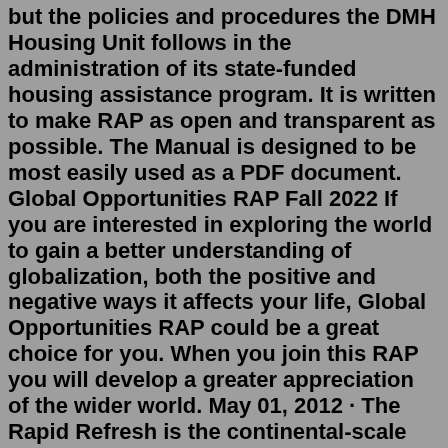but the policies and procedures the DMH Housing Unit follows in the administration of its state-funded housing assistance program. It is written to make RAP as open and transparent as possible. The Manual is designed to be most easily used as a PDF document. Global Opportunities RAP Fall 2022 If you are interested in exploring the world to gain a better understanding of globalization, both the positive and negative ways it affects your life, Global Opportunities RAP could be a great choice for you. When you join this RAP you will develop a greater appreciation of the wider world. May 01, 2012 · The Rapid Refresh is the continental-scale NOAA hourly-updated assimilation/modeling system operational at NCEP. RAP covers North America and is comprised primarily of a numerical forecast model and an analysis/assimilation system to initialize that model. RAP is complemented by the higher-resolution 3km High-Resolution Rapid Refresh (HRRR ... Funding Opportunities Descriptions of current Funding Opportunities through Health Research, Inc.